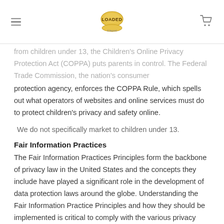[Hamburger menu] [LOADED logo] [Cart icon]
from children under 13, the Children's Online Privacy Protection Act (COPPA) puts parents in control. The Federal Trade Commission, the nation's consumer protection agency, enforces the COPPA Rule, which spells out what operators of websites and online services must do to protect children's privacy and safety online.
We do not specifically market to children under 13.
Fair Information Practices
The Fair Information Practices Principles form the backbone of privacy law in the United States and the concepts they include have played a significant role in the development of data protection laws around the globe. Understanding the Fair Information Practice Principles and how they should be implemented is critical to comply with the various privacy laws that protect personal information.
In order to be in line with Fair Information Practices we will